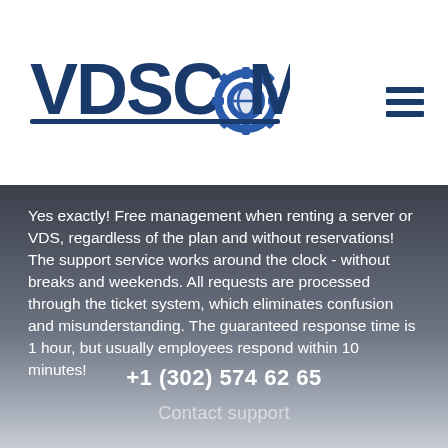[Figure (logo): VDSCOM logo with gear/globe icon in dark blue]
Yes exactly! Free management when renting a server or VDS, regardless of the plan and without reservations! The support service works around the clock - without breaks and weekends. All requests are processed through the ticket system, which eliminates confusion and misunderstanding. The guaranteed response time is 1 hour, but usually employees respond within 10 minutes!
+1 (302) 574 62 65
Contact support